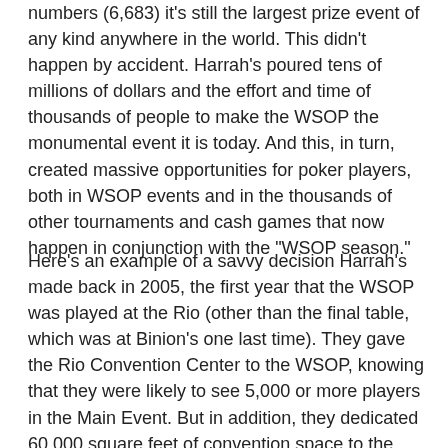numbers (6,683) it's still the largest prize event of any kind anywhere in the world. This didn't happen by accident. Harrah's poured tens of millions of dollars and the effort and time of thousands of people to make the WSOP the monumental event it is today. And this, in turn, created massive opportunities for poker players, both in WSOP events and in the thousands of other tournaments and cash games that now happen in conjunction with the "WSOP season."
Here's an example of a savvy decision Harrah's made back in 2005, the first year that the WSOP was played at the Rio (other than the final table, which was at Binion's one last time). They gave the Rio Convention Center to the WSOP, knowing that they were likely to see 5,000 or more players in the Main Event. But in addition, they dedicated 60,000 square feet of convention space to the (somewhat unfortunately named) WSOP Lifestyle Expo. The Expo was a trade show for the poker business - online sites, clothing companies, chip and card makers and dozens of other companies showing off their wares during the first few days of the Main Event. And they did participating companies a